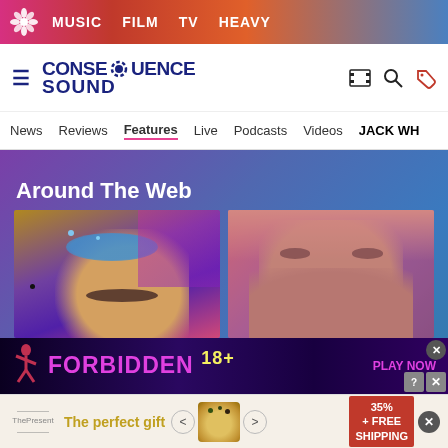MUSIC  FILM  TV  HEAVY
[Figure (logo): Consequence of Sound logo with gear icon]
News  Reviews  Features  Live  Podcasts  Videos  JACK WH
Around The Web
[Figure (photo): Close-up portrait of person with glittery blue eye makeup and mustache]
[Figure (photo): Close-up portrait of bearded man with pinkish-red toning]
[Figure (other): Advertisement banner: FORBIDDEN 18+ PLAY NOW]
[Figure (other): Advertisement: The perfect gift, 35% + FREE SHIPPING]